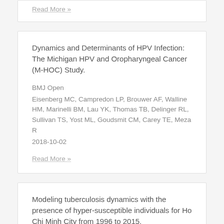Read More »
Dynamics and Determinants of HPV Infection: The Michigan HPV and Oropharyngeal Cancer (M-HOC) Study.
BMJ Open
Eisenberg MC, Campredon LP, Brouwer AF, Walline HM, Marinelli BM, Lau YK, Thomas TB, Delinger RL, Sullivan TS, Yost ML, Goudsmit CM, Carey TE, Meza R
2018-10-02
Read More »
Modeling tuberculosis dynamics with the presence of hyper-susceptible individuals for Ho Chi Minh City from 1996 to 2015.